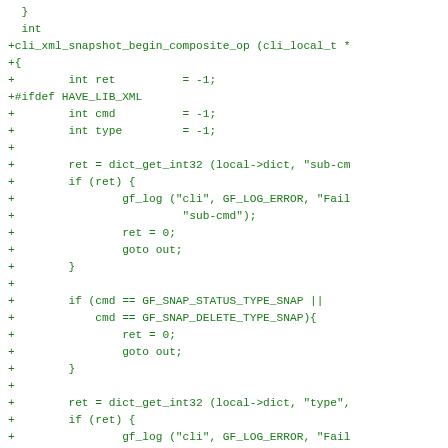[Figure (screenshot): Code diff snippet showing C function cli_xml_snapshot_begin_composite_op with added lines (prefixed with +) in green monospace font on white background]